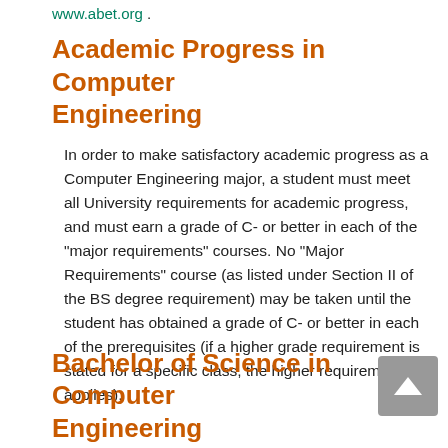www.abet.org
Academic Progress in Computer Engineering
In order to make satisfactory academic progress as a Computer Engineering major, a student must meet all University requirements for academic progress, and must earn a grade of C- or better in each of the "major requirements" courses. No "Major Requirements" course (as listed under Section II of the BS degree requirement) may be taken until the student has obtained a grade of C- or better in each of the prerequisites (if a higher grade requirement is stated for a specific class, the higher requirement applies).
Bachelor of Science in Computer Engineering